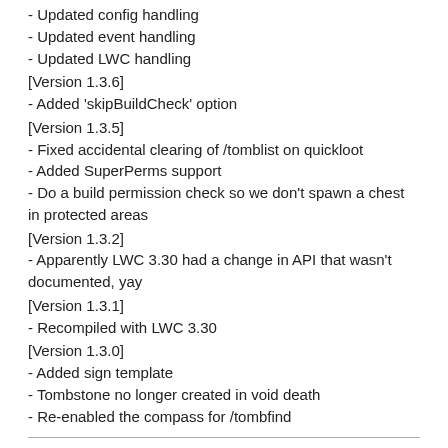- Updated config handling
- Updated event handling
- Updated LWC handling
[Version 1.3.6]
- Added 'skipBuildCheck' option
[Version 1.3.5]
- Fixed accidental clearing of /tomblist on quickloot
- Added SuperPerms support
- Do a build permission check so we don't spawn a chest in protected areas
[Version 1.3.2]
- Apparently LWC 3.30 had a change in API that wasn't documented, yay
[Version 1.3.1]
- Recompiled with LWC 3.30
[Version 1.3.0]
- Added sign template
- Tombstone no longer created in void death
- Re-enabled the compass for /tombfind
Re: [MISC] Tombstone v1.3.6 - A deadmans chest plugin for Bu
by coryorth  Posted: November 11th, 2011, 2:15 am